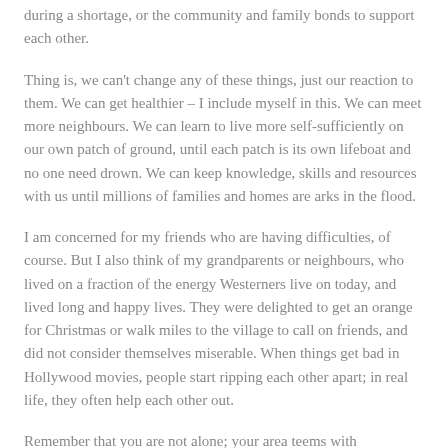during a shortage, or the community and family bonds to support each other.
Thing is, we can't change any of these things, just our reaction to them. We can get healthier – I include myself in this. We can meet more neighbours. We can learn to live more self-sufficiently on our own patch of ground, until each patch is its own lifeboat and no one need drown. We can keep knowledge, skills and resources with us until millions of families and homes are arks in the flood.
I am concerned for my friends who are having difficulties, of course. But I also think of my grandparents or neighbours, who lived on a fraction of the energy Westerners live on today, and lived long and happy lives. They were delighted to get an orange for Christmas or walk miles to the village to call on friends, and did not consider themselves miserable. When things get bad in Hollywood movies, people start ripping each other apart; in real life, they often help each other out.
Remember that you are not alone; your area teems with people who are already self-finding ways to help and...